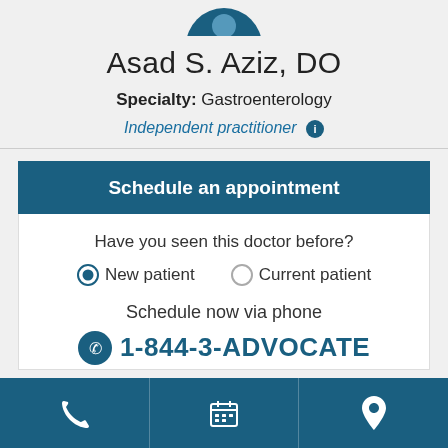[Figure (photo): Partial circular avatar/profile photo of the doctor, cropped at the top]
Asad S. Aziz, DO
Specialty: Gastroenterology
Independent practitioner ℹ
Schedule an appointment
Have you seen this doctor before?
New patient   Current patient
Schedule now via phone
1-844-3-ADVOCATE
[Figure (screenshot): Bottom navigation bar with phone, calendar, and location pin icons]